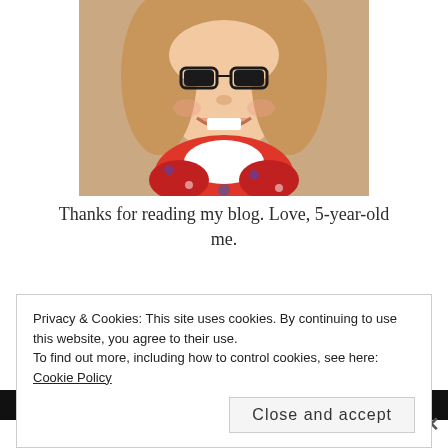[Figure (photo): Vintage-style photo of a smiling young girl with blonde hair and black cat-eye glasses, wearing a red floral dress with white collar]
Thanks for reading my blog. Love, 5-year-old me.
Privacy & Cookies: This site uses cookies. By continuing to use this website, you agree to their use.
To find out more, including how to control cookies, see here: Cookie Policy
Close and accept
Advertisements